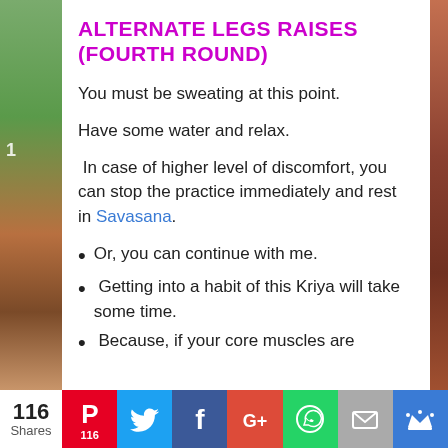ALTERNATE LEGS RAISES (FOURTH ROUND)
You must be sweating at this point.
Have some water and relax.
In case of higher level of discomfort, you can stop the practice immediately and rest in Savasana.
Or, you can continue with me.
Getting into a habit of this Kriya will take some time.
Because, if your core muscles are
116 Shares | Pinterest 116 | Twitter | Facebook | Google+ | WhatsApp | Email | King